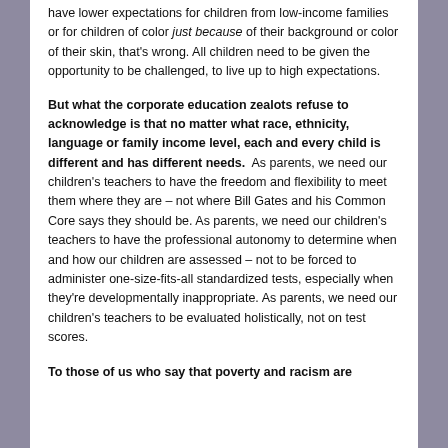have lower expectations for children from low-income families or for children of color just because of their background or color of their skin, that's wrong. All children need to be given the opportunity to be challenged, to live up to high expectations.
But what the corporate education zealots refuse to acknowledge is that no matter what race, ethnicity, language or family income level, each and every child is different and has different needs. As parents, we need our children's teachers to have the freedom and flexibility to meet them where they are – not where Bill Gates and his Common Core says they should be. As parents, we need our children's teachers to have the professional autonomy to determine when and how our children are assessed – not to be forced to administer one-size-fits-all standardized tests, especially when they're developmentally inappropriate. As parents, we need our children's teachers to be evaluated holistically, not on test scores.
To those of us who say that poverty and racism are